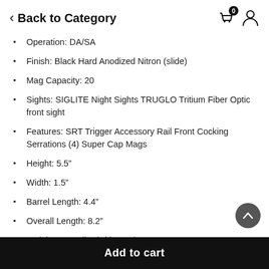< Back to Category
Operation: DA/SA
Finish: Black Hard Anodized Nitron (slide)
Mag Capacity: 20
Sights: SIGLITE Night Sights TRUGLO Tritium Fiber Optic front sight
Features: SRT Trigger Accessory Rail Front Cocking Serrations (4) Super Cap Mags
Height: 5.5"
Width: 1.5"
Barrel Length: 4.4"
Overall Length: 8.2"
Weight: 2.125 lbs (with mag)
Add to cart